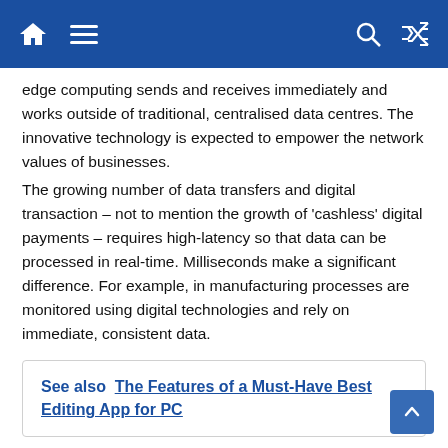Navigation header with home, menu, search, and shuffle icons
edge computing sends and receives immediately and works outside of traditional, centralised data centres. The innovative technology is expected to empower the network values of businesses.
The growing number of data transfers and digital transaction – not to mention the growth of 'cashless' digital payments – requires high-latency so that data can be processed in real-time. Milliseconds make a significant difference. For example, in manufacturing processes are monitored using digital technologies and rely on immediate, consistent data.
See also  The Features of a Must-Have Best Editing App for PC
Existing cloud infrastructures are not capable of transferring huge amounts of data back and forth. When networks are overloaded the following incidents can reduce performance, productivity and